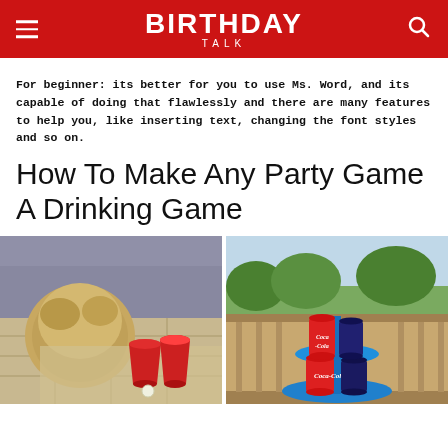BIRTHDAY TALK
For beginner: its better for you to use Ms. Word, and its capable of doing that flawlessly and there are many features to help you, like inserting text, changing the font styles and so on.
How To Make Any Party Game A Drinking Game
[Figure (photo): Child looking at red solo cups arranged on a tiled outdoor table with a ping pong ball, resembling a beer pong setup]
[Figure (photo): Coca-Cola cans and a dark colored can stacked on a blue tiered holder/stand on an outdoor deck railing]